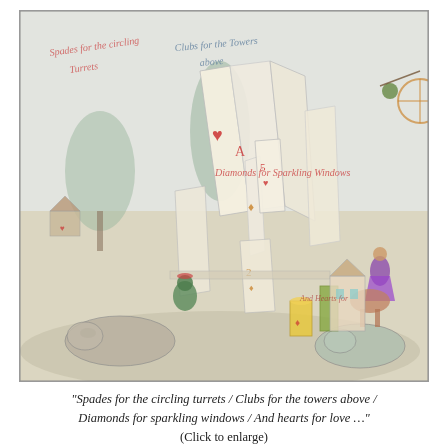[Figure (illustration): A colorful pencil and watercolor illustration depicting a fantastical castle built from playing cards (spades, clubs, diamonds, hearts). Various whimsical figures including animals (hippos, deer), costumed characters, and acrobats populate the scene. Handwritten text within the image reads: 'Spades for the circling Turrets', 'Clubs for the Towers above', 'Diamonds for Sparkling Windows', and 'And Hearts for...' The castle of cards dominates the center, with trees, structures, and creatures around it.]
"Spades for the circling turrets / Clubs for the towers above / Diamonds for sparkling windows / And hearts for love …" (Click to enlarge)